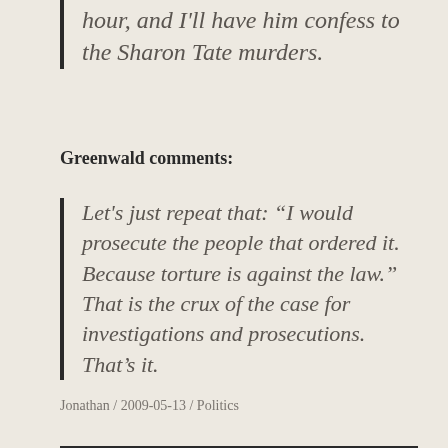hour, and I'll have him confess to the Sharon Tate murders.
Greenwald comments:
Let's just repeat that: “I would prosecute the people that ordered it. Because torture is against the law.” That is the crux of the case for investigations and prosecutions. That’s it.
Jonathan / 2009-05-13 / Politics